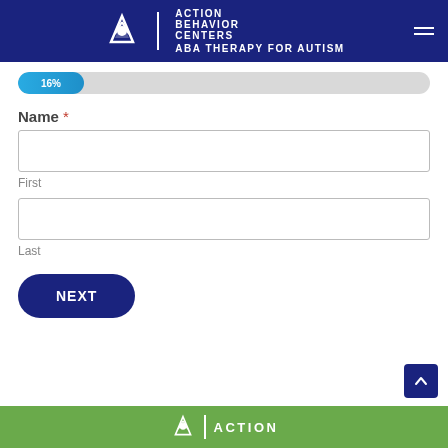ACTION BEHAVIOR CENTERS
[Figure (infographic): Progress bar showing 16% completion]
Name *
First
Last
NEXT
ACTION